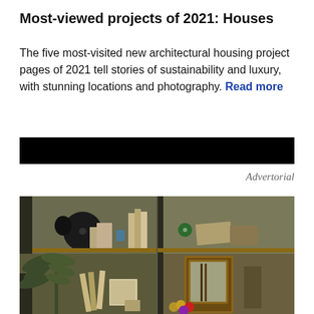Most-viewed projects of 2021: Houses
The five most-visited new architectural housing project pages of 2021 tell stories of sustainability and luxury, with stunning locations and photography. Read more
[Figure (other): Black advertisement banner]
Advertorial
[Figure (photo): A wooden shelving unit displaying books, boxes, a vinyl record, a plant with dark green leaves, billiard balls, and various decorative objects on olive-green background]